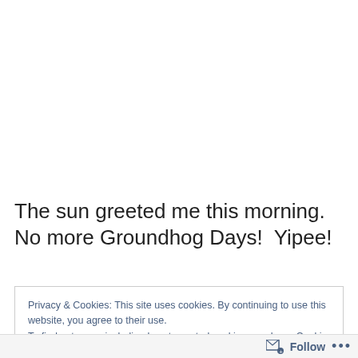The sun greeted me this morning.  No more Groundhog Days!  Yipee!
Privacy & Cookies: This site uses cookies. By continuing to use this website, you agree to their use.
To find out more, including how to control cookies, see here: Cookie Policy
Close and accept
Follow ···